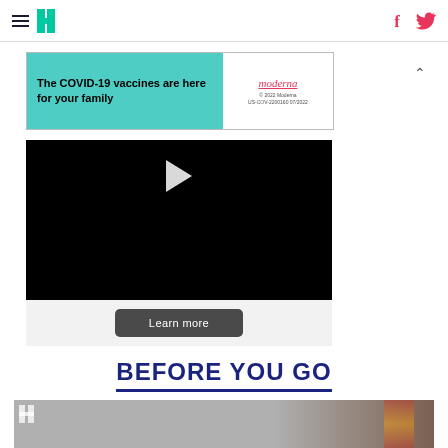HuffPost navigation with hamburger menu, logo, Facebook and Twitter icons
[Figure (other): Moderna COVID-19 vaccine advertisement banner: 'The COVID-19 vaccines are here for your family' with Moderna logo on teal/white background]
[Figure (other): Black video player with white play button triangle]
Learn more
BEFORE YOU GO
[Figure (photo): Photo of a man in front of what appears to be a state flag, with HuffPost logo watermark in upper left corner]